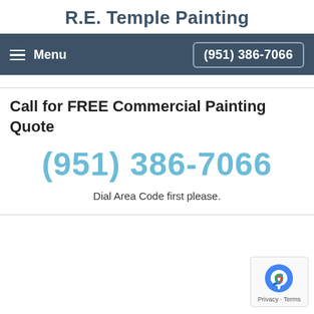R.E. Temple Painting
Menu  (951) 386-7066
Call for FREE Commercial Painting Quote
(951) 386-7066
Dial Area Code first please.